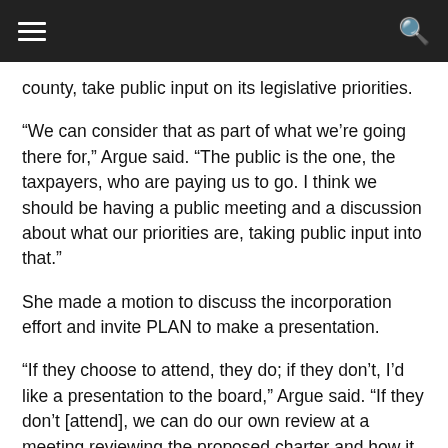county, take public input on its legislative priorities.
“We can consider that as part of what we’re going there for,” Argue said. “The public is the one, the taxpayers, who are paying us to go. I think we should be having a public meeting and a discussion about what our priorities are, taking public input into that.”
She made a motion to discuss the incorporation effort and invite PLAN to make a presentation.
“If they choose to attend, they do; if they don’t, I’d like a presentation to the board,” Argue said. “If they don’t [attend], we can do our own review at a meeting reviewing the proposed charter and how it impacts us.”